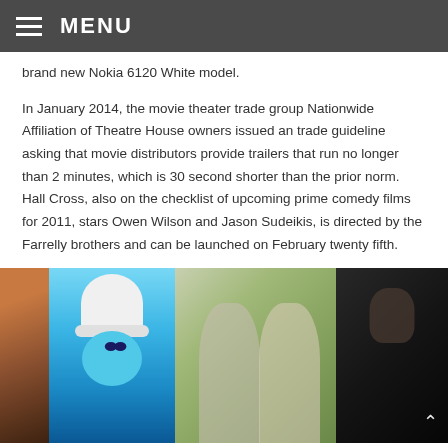MENU
brand new Nokia 6120 White model.
In January 2014, the movie theater trade group Nationwide Affiliation of Theatre House owners issued an trade guideline asking that movie distributors provide trailers that run no longer than 2 minutes, which is 30 second shorter than the prior norm. Hall Cross, also on the checklist of upcoming prime comedy films for 2011, stars Owen Wilson and Jason Sudeikis, is directed by the Farrelly brothers and can be launched on February twenty fifth.
[Figure (photo): A horizontal strip of four movie stills: a close-up of a bearded character (partially visible, leftmost), an animated Smurf character with white hat on blue background, two people pressing foreheads together outdoors, and a distressed young man in dark/dramatic lighting with a scroll-to-top arrow icon overlay.]